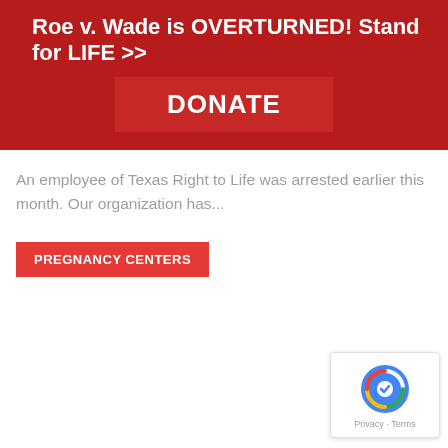Roe v. Wade is OVERTURNED! Stand for LIFE >>
[Figure (screenshot): Red DONATE button on dark red background]
An employee of Texas Right to Life was arrested earlier this month. Our organization has...
PREGNANCY CENTERS
[Figure (logo): Google reCAPTCHA badge with Privacy and Terms links]